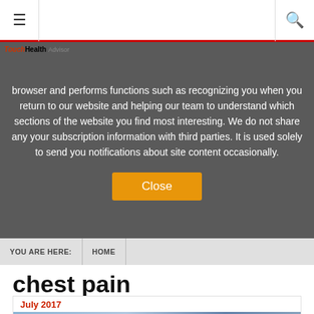≡  [nav]  🔍
browser and performs functions such as recognizing you when you return to our website and helping our team to understand which sections of the website you find most interesting. We do not share any your subscription information with third parties. It is used solely to send you notifications about site content occasionally.
Close
YOU ARE HERE:  HOME
chest pain
July 2017
[Figure (illustration): Article thumbnail with large orange block letters T and H on a blue/teal abstract painted background]